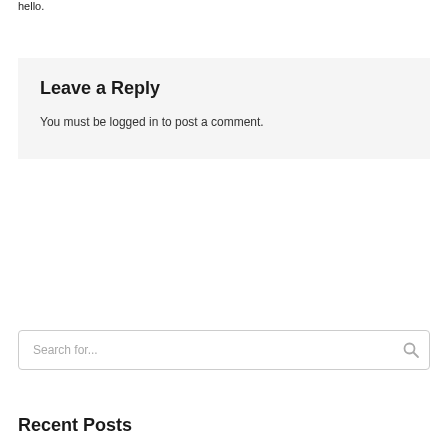hello.
Leave a Reply
You must be logged in to post a comment.
Search for...
Recent Posts